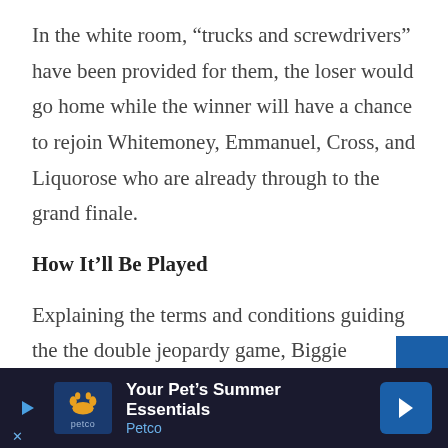In the white room, “trucks and screwdrivers” have been provided for them, the loser would go home while the winner will have a chance to rejoin Whitemoney, Emmanuel, Cross, and Liquorose who are already through to the grand finale.
How It’ll Be Played
Explaining the terms and conditions guiding the the double jeopardy game, Biggie explained that “What you have in front of you are two identical toys, one for you Pere, and the other for Angel. Also in front of you is a single green bulb as w…
[Figure (other): Petco advertisement banner: 'Your Pet's Summer Essentials' with Petco logo and arrow icon on dark navy background.]